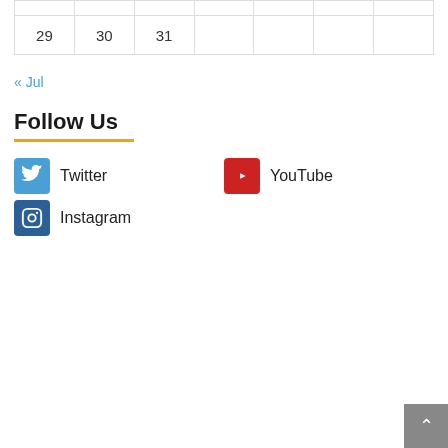|  |  |  |  |  |  |  |
| 29 | 30 | 31 |  |  |  |  |
« Jul
Follow Us
[Figure (logo): Twitter icon - blue rounded square with bird]
Twitter
[Figure (logo): YouTube icon - red square with play button]
YouTube
[Figure (logo): Instagram icon - dark blue square with camera]
Instagram